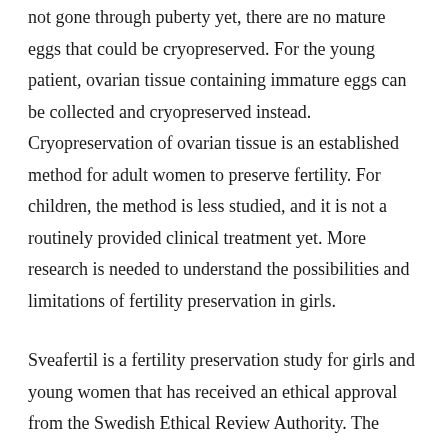not gone through puberty yet, there are no mature eggs that could be cryopreserved. For the young patient, ovarian tissue containing immature eggs can be collected and cryopreserved instead. Cryopreservation of ovarian tissue is an established method for adult women to preserve fertility. For children, the method is less studied, and it is not a routinely provided clinical treatment yet. More research is needed to understand the possibilities and limitations of fertility preservation in girls.
Sveafertil is a fertility preservation study for girls and young women that has received an ethical approval from the Swedish Ethical Review Authority. The project brings together all pediatric oncology and hematology units in Sweden, thereby giving all girls and young women in very